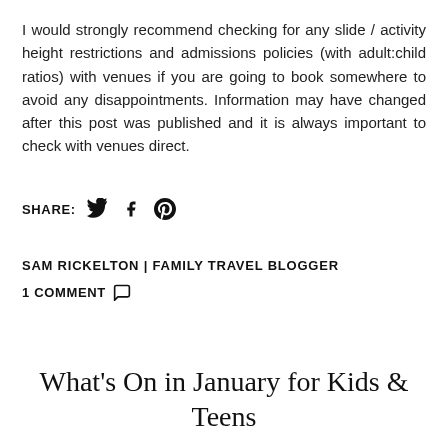I would strongly recommend checking for any slide / activity height restrictions and admissions policies (with adult:child ratios) with venues if you are going to book somewhere to avoid any disappointments. Information may have changed after this post was published and it is always important to check with venues direct.
SHARE: [Twitter] [Facebook] [Pinterest]
SAM RICKELTON | FAMILY TRAVEL BLOGGER
1 COMMENT
What's On in January for Kids & Teens